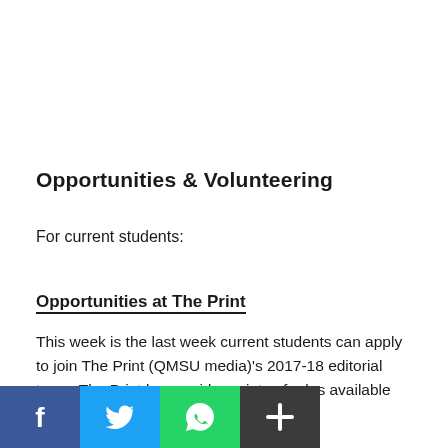Opportunities & Volunteering
For current students:
Opportunities at The Print
This week is the last week current students can apply to join The Print (QMSU media)'s 2017-18 editorial team. The Print has a wide variety of roles available from section editors to a marketing team.
[Figure (other): Social sharing buttons: Facebook, Twitter, WhatsApp, and a generic share button]